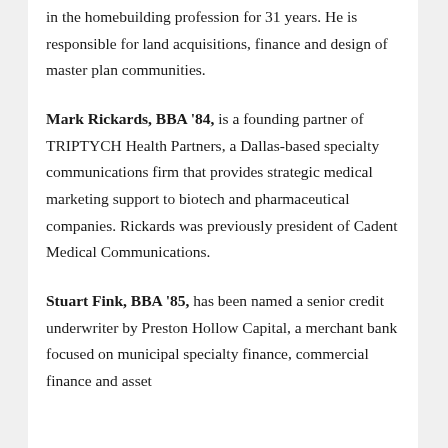in the homebuilding profession for 31 years. He is responsible for land acquisitions, finance and design of master plan communities.
Mark Rickards, BBA '84, is a founding partner of TRIPTYCH Health Partners, a Dallas-based specialty communications firm that provides strategic medical marketing support to biotech and pharmaceutical companies. Rickards was previously president of Cadent Medical Communications.
Stuart Fink, BBA '85, has been named a senior credit underwriter by Preston Hollow Capital, a merchant bank focused on municipal specialty finance, commercial finance and asset